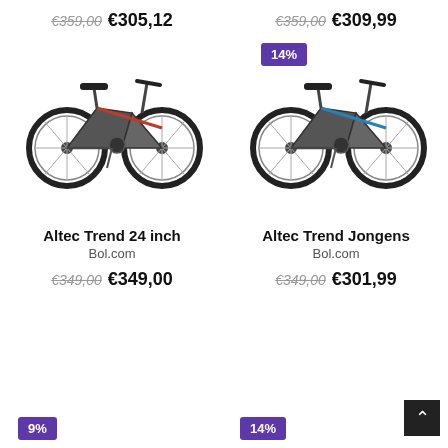€359,00  €305,12
€359,00  €309,99
[Figure (photo): Altec Trend 24 inch mountain bike in black/red colorway, side view]
[Figure (photo): Altec Trend Jongens mountain bike in black/blue colorway, side view, with 14% discount badge]
Altec Trend 24 inch
Bol.com
€349,00  €349,00
Altec Trend Jongens
Bol.com
€349,00  €301,99
9%
14%